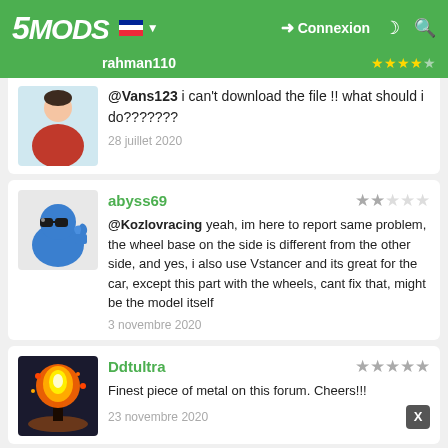5MODS — Connexion
@Vans123 i can't download the file !! what should i do???????
28 juillet 2020
abyss69 — 2 stars — @Kozlovracing yeah, im here to report same problem, the wheel base on the side is different from the other side, and yes, i also use Vstancer and its great for the car, except this part with the wheels, cant fix that, might be the model itself — 3 novembre 2020
Ddtultra — 5 stars — Finest piece of metal on this forum. Cheers!!! — 23 novembre 2020
Cheshik078 Banni — 1 star — @Vans123 The car is great, but there are two huge